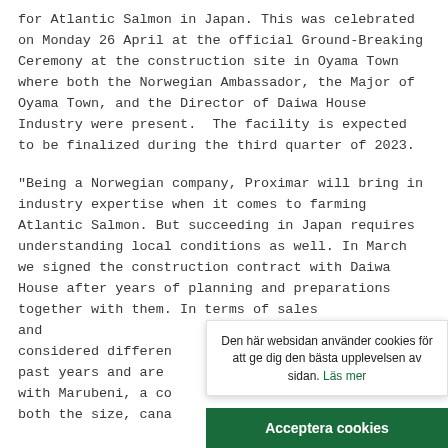for Atlantic Salmon in Japan. This was celebrated on Monday 26 April at the official Ground-Breaking Ceremony at the construction site in Oyama Town where both the Norwegian Ambassador, the Major of Oyama Town, and the Director of Daiwa House Industry were present.  The facility is expected to be finalized during the third quarter of 2023.
"Being a Norwegian company, Proximar will bring in industry expertise when it comes to farming Atlantic Salmon. But succeeding in Japan requires understanding local conditions as well. In March we signed the construction contract with Daiwa House after years of planning and preparations together with them. In terms of sales and [obscured] considered differen[t] [over] past years and are [obscured] with Marubeni, a co[mpany of] both the size, capa[city to] our [knowledge]
Den här websidan använder cookies för att ge dig den bästa upplevelsen av sidan. Läs mer
Acceptera cookies